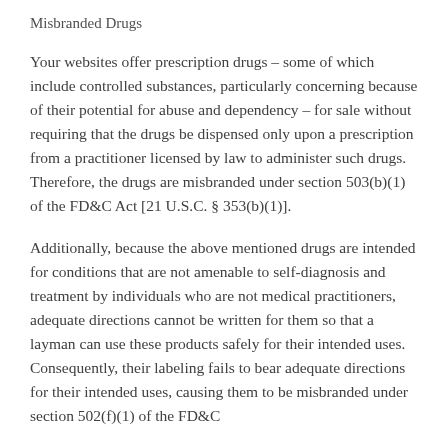Misbranded Drugs
Your websites offer prescription drugs – some of which include controlled substances, particularly concerning because of their potential for abuse and dependency – for sale without requiring that the drugs be dispensed only upon a prescription from a practitioner licensed by law to administer such drugs. Therefore, the drugs are misbranded under section 503(b)(1) of the FD&C Act [21 U.S.C. § 353(b)(1)].
Additionally, because the above mentioned drugs are intended for conditions that are not amenable to self-diagnosis and treatment by individuals who are not medical practitioners, adequate directions cannot be written for them so that a layman can use these products safely for their intended uses. Consequently, their labeling fails to bear adequate directions for their intended uses, causing them to be misbranded under section 502(f)(1) of the FD&C